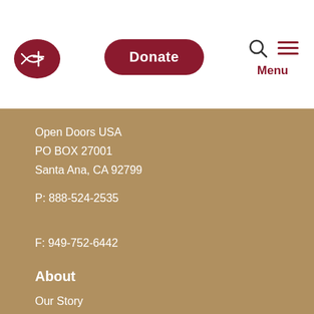[Figure (logo): Open Doors USA logo: dark red rounded shape with fish and cross symbol in white]
Donate
[Figure (illustration): Search icon (magnifying glass) and hamburger menu icon with Menu label in dark red]
Open Doors USA
PO BOX 27001
Santa Ana, CA 92799
P: 888-524-2535

F: 949-752-6442
About
Our Story
Brother Andrew's Story
About our CEO
Customer Service – FAQ
Financials
Contact